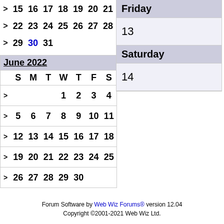|  | S | M | T | W | T | F | S |
| --- | --- | --- | --- | --- | --- | --- | --- |
| > | 15 | 16 | 17 | 18 | 19 | 20 | 21 |
| > | 22 | 23 | 24 | 25 | 26 | 27 | 28 |
| > | 29 | 30 | 31 |  |  |  |  |
Friday
13
Saturday
14
June 2022
|  | S | M | T | W | T | F | S |
| --- | --- | --- | --- | --- | --- | --- | --- |
| > |  |  |  | 1 | 2 | 3 | 4 |
| > | 5 | 6 | 7 | 8 | 9 | 10 | 11 |
| > | 12 | 13 | 14 | 15 | 16 | 17 | 18 |
| > | 19 | 20 | 21 | 22 | 23 | 24 | 25 |
| > | 26 | 27 | 28 | 29 | 30 |  |  |
Forum Software by Web Wiz Forums® version 12.04
Copyright ©2001-2021 Web Wiz Ltd.